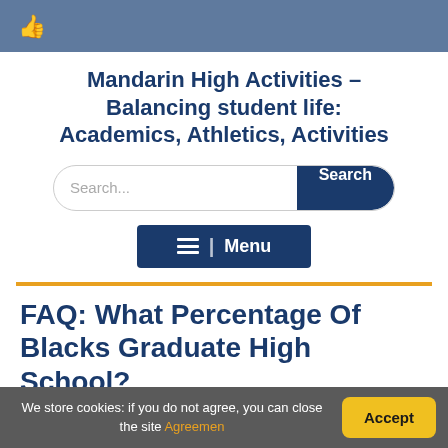Mandarin High Activities – Balancing student life: Academics, Athletics, Activities
Mandarin High Activities – Balancing student life: Academics, Athletics, Activities
[Figure (screenshot): Search bar with placeholder text 'Search...' and a dark blue 'Search' button]
[Figure (screenshot): Dark blue Menu button with hamburger icon and 'Menu' text]
FAQ: What Percentage Of Blacks Graduate High School?
We store cookies: if you do not agree, you can close the site Agreemen